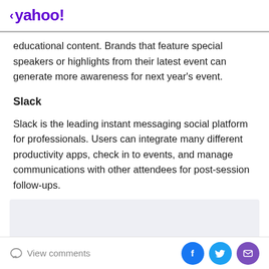< yahoo!
educational content. Brands that feature special speakers or highlights from their latest event can generate more awareness for next year's event.
Slack
Slack is the leading instant messaging social platform for professionals. Users can integrate many different productivity apps, check in to events, and manage communications with other attendees for post-session follow-ups.
[Figure (other): Gray advertisement/content placeholder box]
View comments | Share via Facebook, Twitter, Email